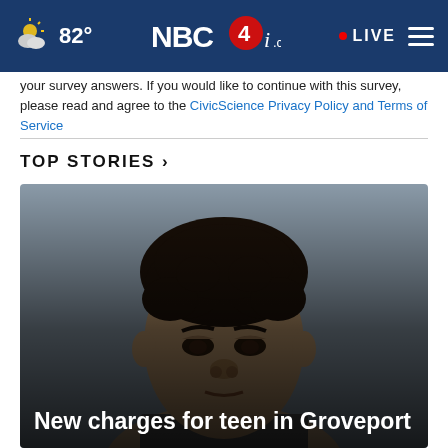82° NBC4i.com • LIVE
your survey answers. If you would like to continue with this survey, please read and agree to the CivicScience Privacy Policy and Terms of Service
TOP STORIES ›
[Figure (photo): Mugshot of a young man with short curly dark hair, against a gray background. News story image for NBC4i top stories.]
New charges for teen in Groveport